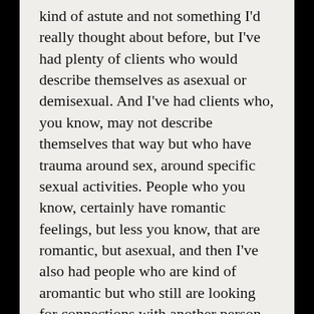kind of astute and not something I'd really thought about before, but I've had plenty of clients who would describe themselves as asexual or demisexual. And I've had clients who, you know, may not describe themselves that way but who have trauma around sex, around specific sexual activities. People who you know, certainly have romantic feelings, but less you know, that are romantic, but asexual, and then I've also had people who are kind of aromantic but who still are looking for connections with another person.
Holly Harte  9:43
I've definitely had that experience